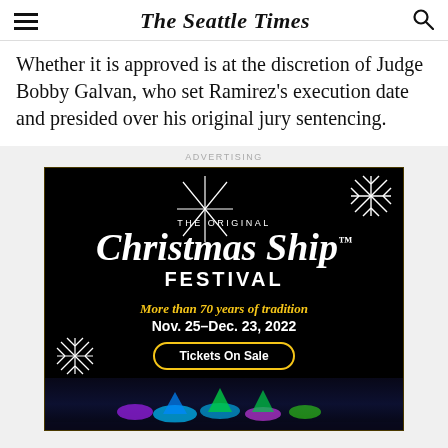The Seattle Times
Whether it is approved is at the discretion of Judge Bobby Galvan, who set Ramirez's execution date and presided over his original jury sentencing.
ADVERTISING
[Figure (illustration): Advertisement for The Original Christmas Ship Festival. Black background with star burst and snowflakes. Text: THE ORIGINAL, Christmas Ship FESTIVAL, More than 70 years of tradition, Nov. 25–Dec. 23, 2022, Tickets On Sale. Bottom shows lit boats on dark water.]